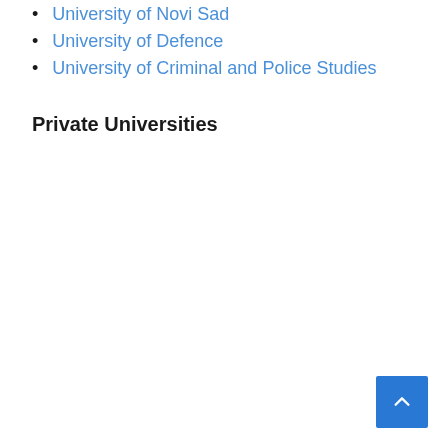University of Novi Sad
University of Defence
University of Criminal and Police Studies
Private Universities